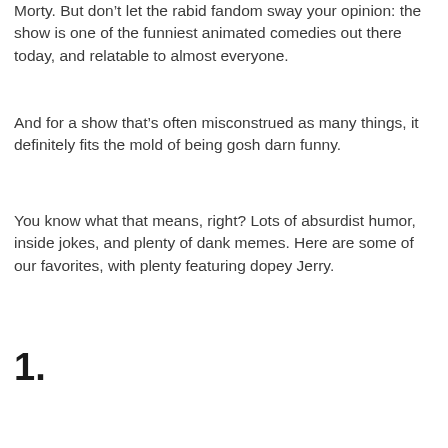Morty. But don't let the rabid fandom sway your opinion: the show is one of the funniest animated comedies out there today, and relatable to almost everyone.
And for a show that's often misconstrued as many things, it definitely fits the mold of being gosh darn funny.
You know what that means, right? Lots of absurdist humor, inside jokes, and plenty of dank memes. Here are some of our favorites, with plenty featuring dopey Jerry.
1.